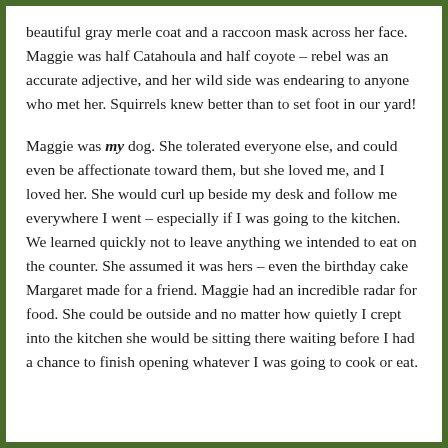beautiful gray merle coat and a raccoon mask across her face. Maggie was half Catahoula and half coyote – rebel was an accurate adjective, and her wild side was endearing to anyone who met her. Squirrels knew better than to set foot in our yard!
Maggie was my dog. She tolerated everyone else, and could even be affectionate toward them, but she loved me, and I loved her. She would curl up beside my desk and follow me everywhere I went – especially if I was going to the kitchen. We learned quickly not to leave anything we intended to eat on the counter. She assumed it was hers – even the birthday cake Margaret made for a friend. Maggie had an incredible radar for food. She could be outside and no matter how quietly I crept into the kitchen she would be sitting there waiting before I had a chance to finish opening whatever I was going to cook or eat.